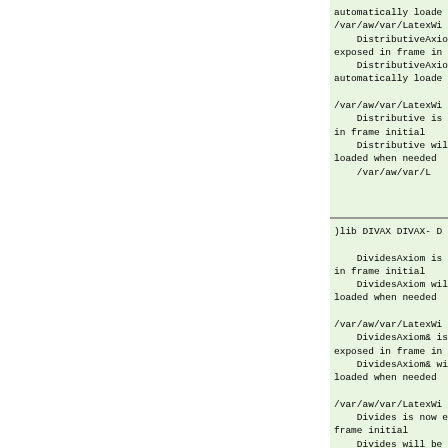automatically loade
/var/aw/var/LatexWi
    DistributiveAxio
exposed in frame in
    DistributiveAxio
automatically loade

/var/aw/var/LatexWi
    Distributive is
in frame initial
    Distributive wil
loaded when needed
    /var/aw/var/L
)lib DIVAX DIVAX- D

    DividesAxiom is
in frame initial
    DividesAxiom wil
loaded when needed

/var/aw/var/LatexWi
    DividesAxiom& is
exposed in frame in
    DividesAxiom& wi
loaded when needed

/var/aw/var/LatexWi
    Divides is now e
frame initial
    Divides will be
when needed from
    /var/aw/var/L